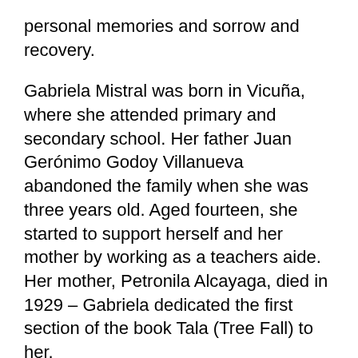personal memories and sorrow and recovery.
Gabriela Mistral was born in Vicuña, where she attended primary and secondary school. Her father Juan Gerónimo Godoy Villanueva abandoned the family when she was three years old. Aged fourteen, she started to support herself and her mother by working as a teachers aide. Her mother, Petronila Alcayaga, died in 1929 – Gabriela dedicated the first section of the book Tala (Tree Fall) to her.
In 1904 she published some early poems, such as Ensoñaciones, Carta Íntima (Intimate Letter) and Junto al Mar, in the local newspaper El Coquimbo de La Serena, using various pseudonyms.